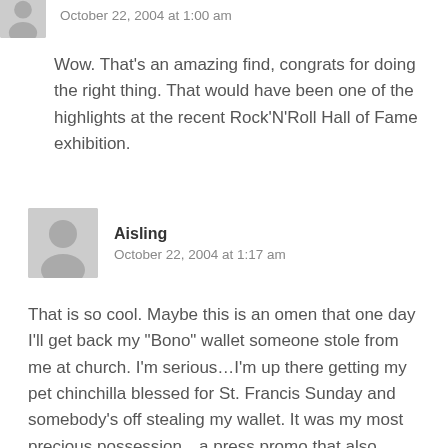October 22, 2004 at 1:00 am
Wow. That’s an amazing find, congrats for doing the right thing. That would have been one of the highlights at the recent Rock’N’Roll Hall of Fame exhibition.
Aisling
October 22, 2004 at 1:17 am
That is so cool. Maybe this is an omen that one day I’ll get back my “Bono” wallet someone stole from me at church. I’m serious…I’m up there getting my pet chinchilla blessed for St. Francis Sunday and somebody’s off stealing my wallet. It was my most precious possession…a press promo that also contained my prized photo pass I got for a ATYCLB gig the band did in Vegas. Or maybe the Bono will